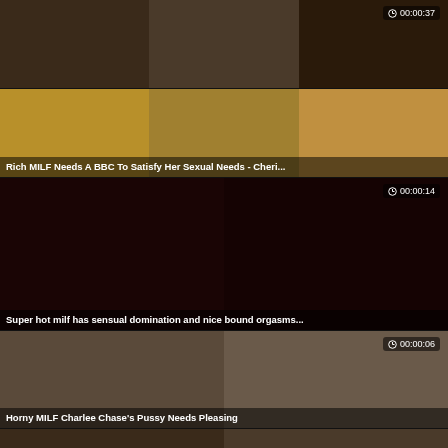[Figure (screenshot): Video thumbnail grid - top row of adult content videos]
[Figure (screenshot): Video thumbnail - Rich MILF Needs A BBC To Satisfy Her Sexual Needs - Cheri...]
[Figure (screenshot): Video thumbnail - Super hot milf has sensual domination and nice bound orgasms, timer 00:00:14]
[Figure (screenshot): Video thumbnail - Horny MILF Charlee Chase's Pussy Needs Pleasing, timer 00:00:06]
[Figure (screenshot): Video thumbnail - partially visible bottom row, timer 00:00:05]